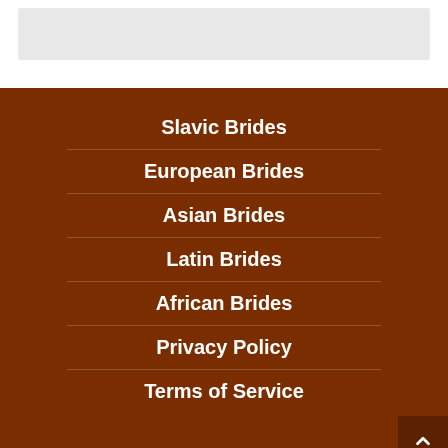[Figure (screenshot): Gray rounded rectangle box at top of page on white background, representing a UI element or image placeholder]
Slavic Brides
European Brides
Asian Brides
Latin Brides
African Brides
Privacy Policy
Terms of Service
We are using cookies...